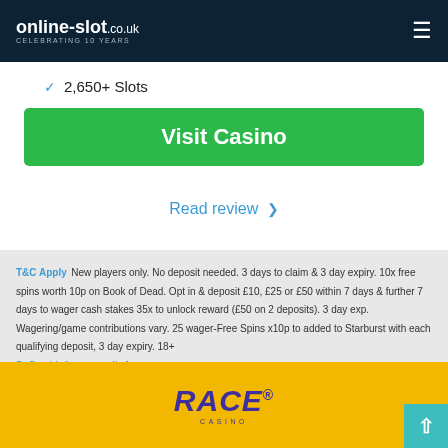online-slot.co.uk CELEBRATING 10 YEARS
2,050+ Slots
Visit Casino
Read review
T&C Apply New players only. No deposit needed. 3 days to claim & 3 day expiry. 10x free spins worth 10p on Book of Dead. Opt in & deposit £10, £25 or £50 within 7 days & further 7 days to wager cash stakes 35x to unlock reward (£50 on 2 deposits). 3 day exp. Wagering/game contributions vary. 25 wager-Free Spins x10p to added to Starburst with each qualifying deposit, 3 day expiry. 18+ BeGambleAware.org #ad
[Figure (logo): RACE Casino logo on yellow background]